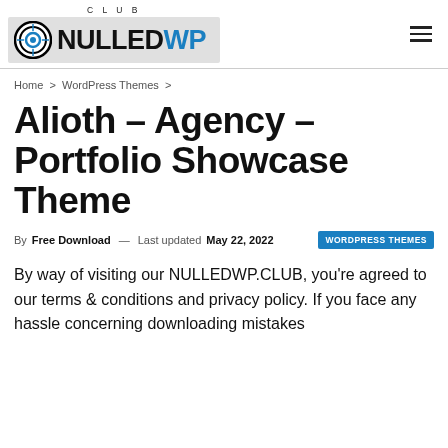CLUB NULLEDWP
Home > WordPress Themes >
Alioth – Agency – Portfolio Showcase Theme
By Free Download — Last updated May 22, 2022   WORDPRESS THEMES
By way of visiting our NULLEDWP.CLUB, you're agreed to our terms & conditions and privacy policy. If you face any hassle concerning downloading mistakes